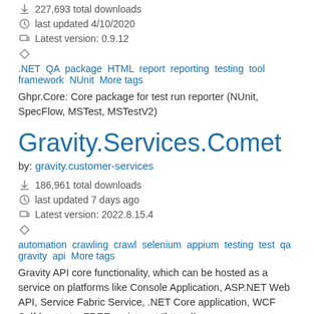227,693 total downloads
last updated 4/10/2020
Latest version: 0.9.12
.NET QA package HTML report reporting testing tool framework NUnit More tags
Ghpr.Core: Core package for test run reporter (NUnit, SpecFlow, MSTest, MSTestV2)
Gravity.Services.Comet
by: gravity.customer-services
186,961 total downloads
last updated 7 days ago
Latest version: 2022.8.15.4
automation crawling crawl selenium appium testing test qa gravity api More tags
Gravity API core functionality, which can be hosted as a service on platforms like Console Application, ASP.NET Web API, Service Fabric Service, .NET Core application, WCF Self-host, etc. FREE register at "https://g-